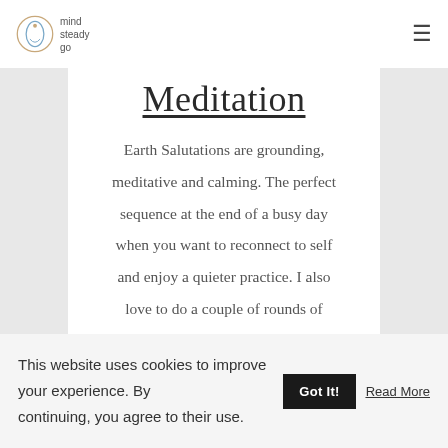mind steady go
Meditation
Earth Salutations are grounding, meditative and calming. The perfect sequence at the end of a busy day when you want to reconnect to self and enjoy a quieter practice. I also love to do a couple of rounds of Earth Salutations in the morning before I move into Sun Salutations
This website uses cookies to improve your experience. By continuing, you agree to their use. Got It! Read More